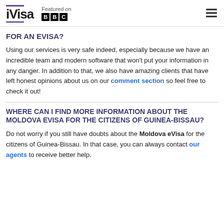iVisa — Featured on BBC
FOR AN EVISA?
Using our services is very safe indeed, especially because we have an incredible team and modern software that won't put your information in any danger. In addition to that, we also have amazing clients that have left honest opinions about us on our comment section so feel free to check it out!
WHERE CAN I FIND MORE INFORMATION ABOUT THE MOLDOVA EVISA FOR THE CITIZENS OF GUINEA-BISSAU?
Do not worry if you still have doubts about the Moldova eVisa for the citizens of Guinea-Bissau. In that case, you can always contact our agents to receive better help.